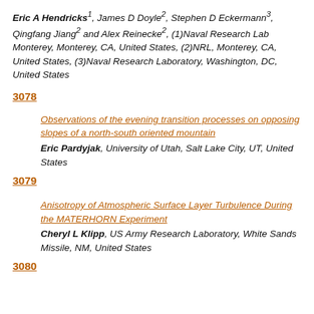Eric A Hendricks¹, James D Doyle², Stephen D Eckermann³, Qingfang Jiang² and Alex Reinecke², (1)Naval Research Lab Monterey, Monterey, CA, United States, (2)NRL, Monterey, CA, United States, (3)Naval Research Laboratory, Washington, DC, United States
3078
Observations of the evening transition processes on opposing slopes of a north-south oriented mountain
Eric Pardyjak, University of Utah, Salt Lake City, UT, United States
3079
Anisotropy of Atmospheric Surface Layer Turbulence During the MATERHORN Experiment
Cheryl L Klipp, US Army Research Laboratory, White Sands Missile, NM, United States
3080